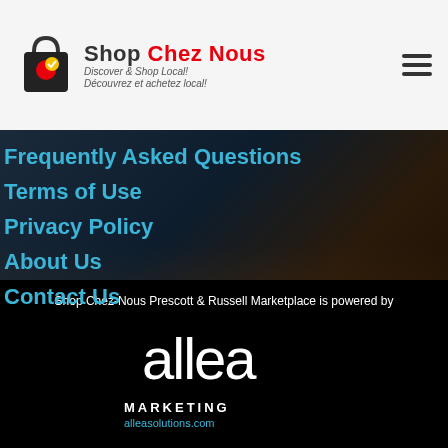[Figure (logo): Shop Chez Nous logo with shopping bag icon, taglines 'Discover & Shop Local! Découvrez et achetez local!']
Frequently Asked Questions
Terms of Use
Privacy Policy
About Us
Contact Us
Shop Chez-Nous Prescott & Russell Marketplace is powered by
[Figure (logo): Allea Marketing logo with text 'allea MARKETING' and URL alleasolutions.com]